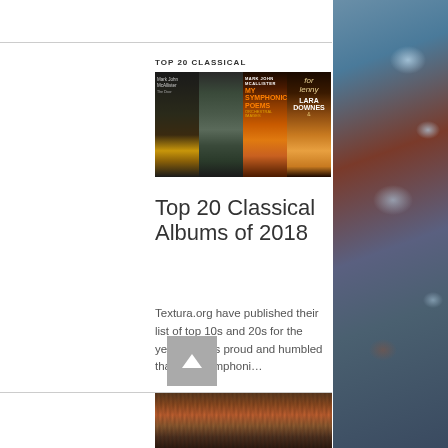TOP 20 CLASSICAL
[Figure (photo): Four classical album covers in a horizontal strip. Album 1: dark room with glowing door. Album 2: foggy forest. Album 3: My Symphonic Poems Orchestral Images - fiery orange cover. Album 4: Lara Downes 'lenny' - warm toned portrait.]
Top 20 Classical Albums of 2018
Textura.org have published their list of top 10s and 20s for the year. Mark is proud and humbled that "My Symphoni...
[Figure (photo): Autumn forest scene with red and brown foliage, bottom of page]
[Figure (photo): Rainy water surface with droplet ripples and reflections, right side of page]